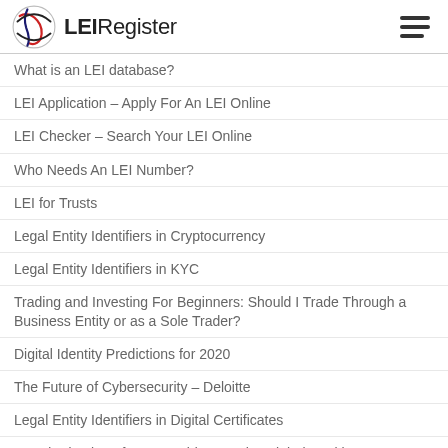LEIRegister
What is an LEI database?
LEI Application – Apply For An LEI Online
LEI Checker – Search Your LEI Online
Who Needs An LEI Number?
LEI for Trusts
Legal Entity Identifiers in Cryptocurrency
Legal Entity Identifiers in KYC
Trading and Investing For Beginners: Should I Trade Through a Business Entity or as a Sole Trader?
Digital Identity Predictions for 2020
The Future of Cybersecurity – Deloitte
Legal Entity Identifiers in Digital Certificates
Broad Adoption of LEIs Could Save The Global Banking Sector US $2-4 Billion